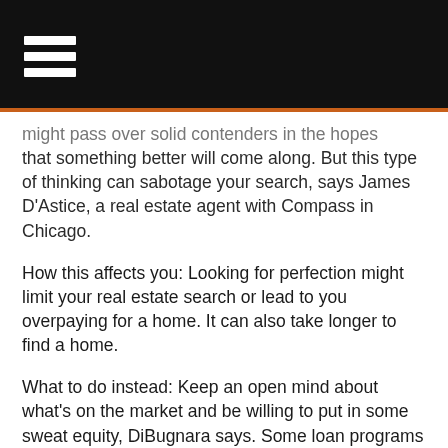might pass over solid contenders in the hopes that something better will come along. But this type of thinking can sabotage your search, says James D'Astice, a real estate agent with Compass in Chicago.
How this affects you: Looking for perfection might limit your real estate search or lead to you overpaying for a home. It can also take longer to find a home.
What to do instead: Keep an open mind about what's on the market and be willing to put in some sweat equity, DiBugnara says. Some loan programs let you roll the cost of repairs into your mortgage, too, he adds.
11. OVERLOOKING FHA, VA AND USDA LOANS
First-time buyers might be cash-strapped in this environment of rising home prices. And if you have little saved for a down payment or your credit isn't stellar, you might have a hard time qualifying for a conventional loan.